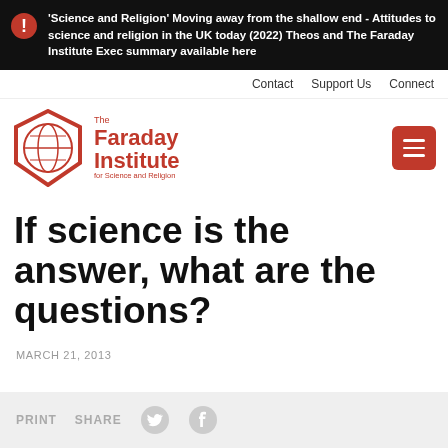'Science and Religion' Moving away from the shallow end - Attitudes to science and religion in the UK today (2022) Theos and The Faraday Institute Exec summary available here
Contact  Support Us  Connect
[Figure (logo): The Faraday Institute for Science and Religion logo with hexagonal globe icon in red]
If science is the answer, what are the questions?
MARCH 21, 2013
PRINT  SHARE